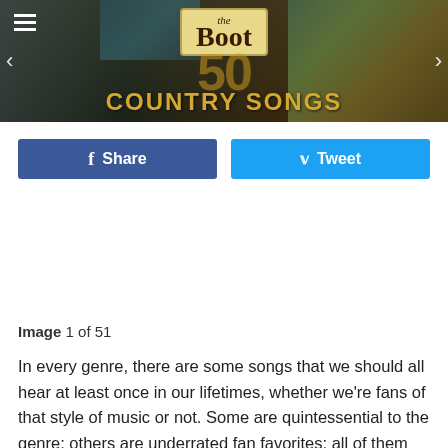[Figure (screenshot): The Boot website header banner showing logo and '50 Country Songs' title with navigation arrows]
[Figure (photo): Social sharing buttons: Facebook Share (blue) and Twitter Tweet (cyan)]
[Figure (photo): Collage strip of album covers and artist images]
Image 1 of 51
In every genre, there are some songs that we should all hear at least once in our lifetimes, whether we're fans of that style of music or not. Some are quintessential to the genre; others are underrated fan favorites; all of them mean so much.